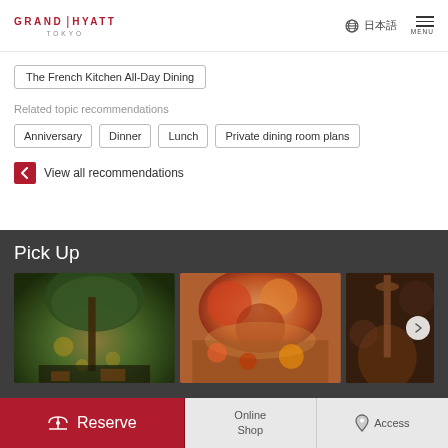Grand Hyatt Tokyo | 日本語 | MENU
The French Kitchen All-Day Dining
Related topic recommendations
Anniversary
Dinner
Lunch
Private dining room plans
View all recommendations
Pick Up
[Figure (photo): Outdoor restaurant terrace with illuminated trees at night, candles and bottles on tables]
[Figure (photo): A spread of various food dishes on a buffet table with colorful ingredients]
[Figure (photo): A person playing guitar in a dimly lit setting]
Reserve
Online Shop
Access